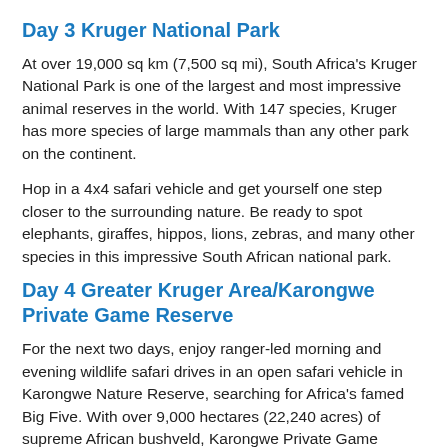Day 3 Kruger National Park
At over 19,000 sq km (7,500 sq mi), South Africa's Kruger National Park is one of the largest and most impressive animal reserves in the world. With 147 species, Kruger has more species of large mammals than any other park on the continent.
Hop in a 4x4 safari vehicle and get yourself one step closer to the surrounding nature. Be ready to spot elephants, giraffes, hippos, lions, zebras, and many other species in this impressive South African national park.
Day 4 Greater Kruger Area/Karongwe Private Game Reserve
For the next two days, enjoy ranger-led morning and evening wildlife safari drives in an open safari vehicle in Karongwe Nature Reserve, searching for Africa's famed Big Five. With over 9,000 hectares (22,240 acres) of supreme African bushveld, Karongwe Private Game Reserve is home to many creatures, and our safari drives provide several opportunities for wildlife viewing. We use various accommodations within the reserve (the location is based on availability). During your time here, you will either stay in lodge rooms or very comfortable permanent tents (both of equal quality